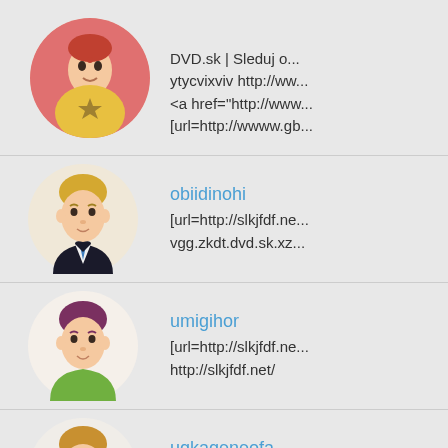DVD.sk | Sleduj o... ytycvixviv http://ww... <a href="http://www... [url=http://wwww.gb...
obiidinohi
[url=http://slkjfdf.ne... vgg.zkdt.dvd.sk.xz...
umigihor
[url=http://slkjfdf.ne... http://slkjfdf.net/
uqkaqeneofa
[url=http://slkjfdf.ne... http://slkjfdf.net/
ibuneqifimo
[url=http://slkjfdf.ne... http://slkjfdf.net/
iabeyrerouze
[url=http://slkjfdf.ne...